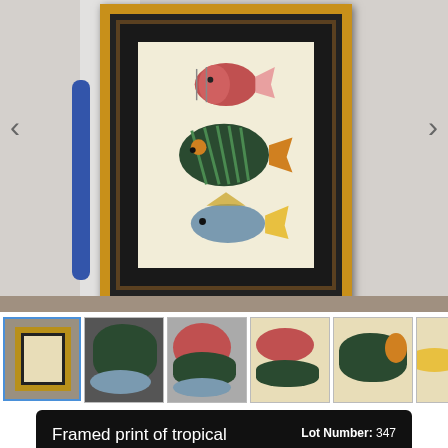[Figure (photo): Framed print of tropical fish in a wooden frame with dark mat, displayed leaning against a wall. The print shows three tropical fish illustrations. Navigation arrows visible on left and right.]
[Figure (photo): Thumbnail strip showing 6 thumbnails of the framed fish print from different angles/zooms. First thumbnail is selected with blue border.]
Framed print of tropical fish; 872-112
Lot Number: 347
Completed
Start Time: 5/6/2022 8:00:00 PM